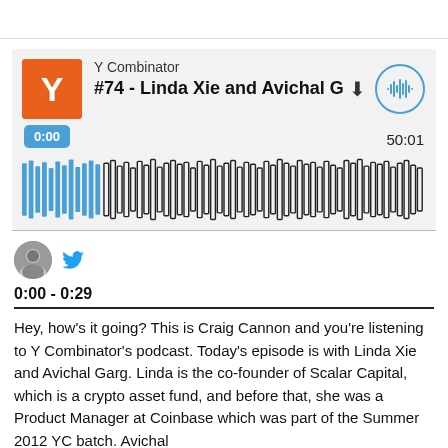[Figure (screenshot): Y Combinator podcast player card showing episode #74 - Linda Xie and Avichal G with waveform audio visualization, timestamp 0:00 and total duration 50:01]
0:00 - 0:29
Hey, how's it going? This is Craig Cannon and you're listening to Y Combinator's podcast. Today's episode is with Linda Xie and Avichal Garg. Linda is the co-founder of Scalar Capital, which is a crypto asset fund, and before that, she was a Product Manager at Coinbase which was part of the Summer 2012 YC batch. Avichal